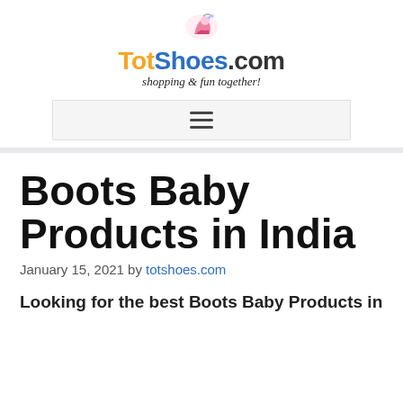[Figure (logo): TotShoes.com logo with a small shoe/character icon above the text. 'Tot' in orange, 'Shoes' in blue, '.com' in dark gray. Tagline: 'shopping & fun together!' in italic serif below.]
☰
Boots Baby Products in India
January 15, 2021 by totshoes.com
Looking for the best Boots Baby Products in